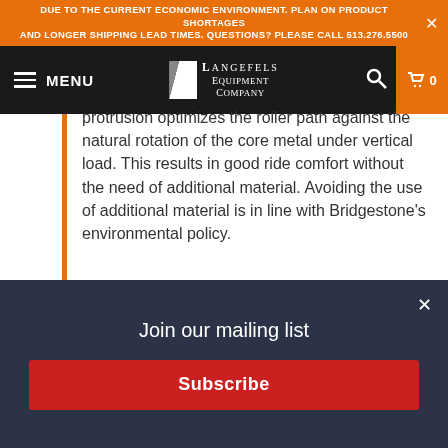DUE TO THE CURRENT ECONOMIC ENVIRONMENT. PLAN ON PRODUCT SHORTAGES AND LONGER SHIPPING LEAD TIMES. QUESTIONS? PLEASE CALL 513.276.5500
MENU — Langefels Equipment Company
protrusion optimizes the roller path against the natural rotation of the core metal under vertical load. This results in good ride comfort without the need of additional material. Avoiding the use of additional material is in line with Bridgestone's environmental policy.
INTERLOCKING
De-tracking is when a track partially removes itself from the undercarriage during operations by disengaging from one of the components
Join our mailing list
Subscribe